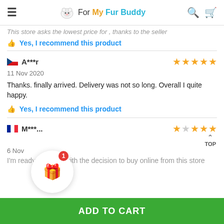For My Fur Buddy
This store asks the lowest price for , thanks to the seller
Yes, I recommend this product
A***r — 11 Nov 2020 — 5 stars
Thanks. finally arrived. Delivery was not so long. Overall I quite happy.
Yes, I recommend this product
M***... — 6 Nov — 2 stars
I'm ready satisfied with the decision to buy online from this store